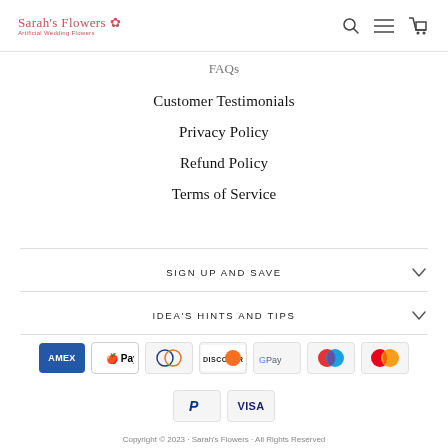Sarah's Flowers — Artificial Wedding Flowers
FAQs
Customer Testimonials
Privacy Policy
Refund Policy
Terms of Service
SIGN UP AND SAVE
IDEA'S HINTS AND TIPS
[Figure (other): Payment method icons: American Express, Apple Pay, Diners Club, Discover, Google Pay, Maestro, Mastercard, PayPal, Visa]
Copyright © 2023 · Sarah's Flowers · All Rights Reserved